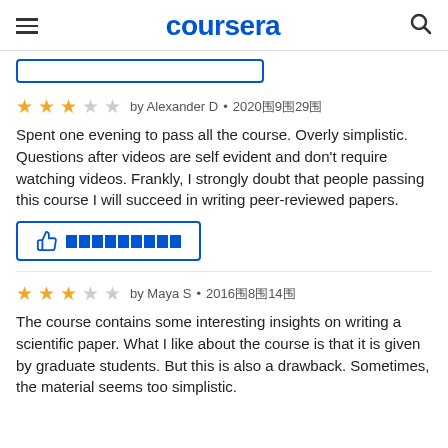coursera
[Figure (other): Partial blue outline button (top of page, cut off)]
★★★☆☆ by Alexander D • 2020年9月29日
Spent one evening to pass all the course. Overly simplistic. Questions after videos are self evident and don't require watching videos. Frankly, I strongly doubt that people passing this course I will succeed in writing peer-reviewed papers.
[Figure (other): Thumbs up helpful button with blue border and encoded text]
★★★☆☆ by Maya S • 2016年8月14日
The course contains some interesting insights on writing a scientific paper. What I like about the course is that it is given by graduate students. But this is also a drawback. Sometimes, the material seems too simplistic.